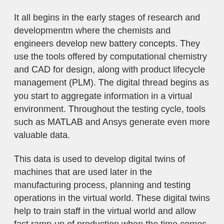It all begins in the early stages of research and developmentm where the chemists and engineers develop new battery concepts. They use the tools offered by computational chemistry and CAD for design, along with product lifecycle management (PLM). The digital thread begins as you start to aggregate information in a virtual environment. Throughout the testing cycle, tools such as MATLAB and Ansys generate even more valuable data.
This data is used to develop digital twins of machines that are used later in the manufacturing process, planning and testing operations in the virtual world. These digital twins help to train staff in the virtual world and allow fast ramp-up of production when the time comes. But it does not end there. As the products are manufactured, sold and used, data is collected in the physical world and fed back into the virtual world, enabling both products and processes to be optimised. This merging of the physical and virtual worlds is the future of battery manufacturing.